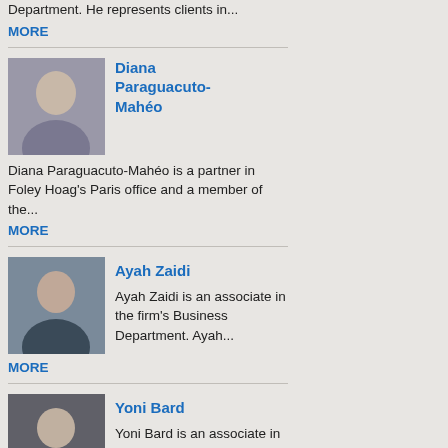Department. He represents clients in...
MORE
Diana Paraguacuto-Mahéo
Diana Paraguacuto-Mahéo is a partner in Foley Hoag's Paris office and a member of the...
MORE
Ayah Zaidi
Ayah Zaidi is an associate in the firm's Business Department. Ayah...
MORE
Yoni Bard
Yoni Bard is an associate in the firm's Litigation Department, where he represents individual and...
MORE
Aaron Lang